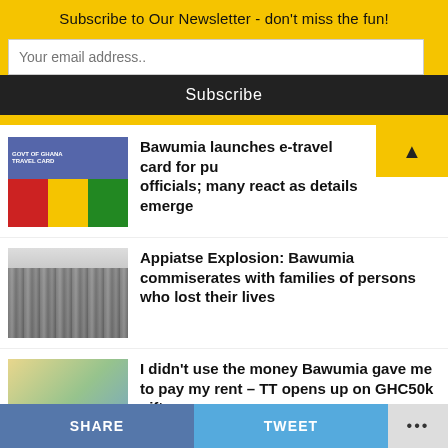Subscribe to Our Newsletter - don't miss the fun!
Your email address..
Subscribe
Bawumia launches e-travel card for public officials; many react as details emerge
Appiatse Explosion: Bawumia commiserates with families of persons who lost their lives
I didn't use the money Bawumia gave me to pay my rent – TT opens up on GHC50k gift
SHARE
TWEET